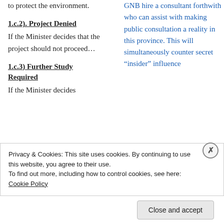to protect the environment.
1.c.2). Project Denied
If the Minister decides that the project should not proceed…
1.c.3) Further Study Required
If the Minister decides
GNB hire a consultant forthwith who can assist with making public consultation a reality in this province. This will simultaneously counter secret “insider” influence
Privacy & Cookies: This site uses cookies. By continuing to use this website, you agree to their use.
To find out more, including how to control cookies, see here: Cookie Policy
Close and accept